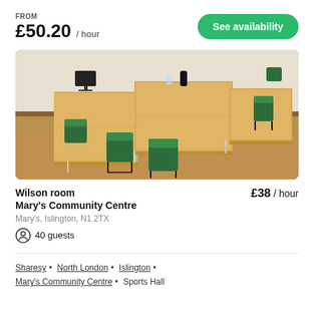FROM £50.20 / hour
See availability
[Figure (photo): Meeting room with U-shaped arrangement of light wood tables and green chairs on a wood floor. A monitor and black speaker are on the table.]
Wilson room
Mary's Community Centre
£38 / hour
Mary's, Islington, N1 2TX
40 guests
Sharesy • North London • Islington • Mary's Community Centre • Sports Hall